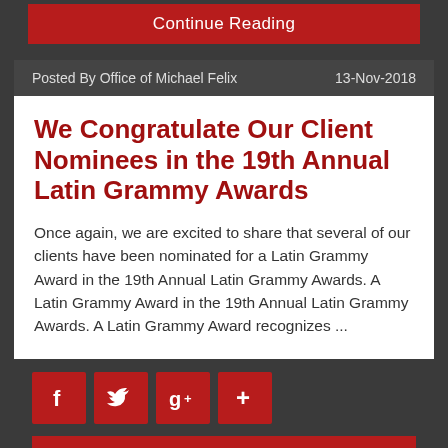Continue Reading
Posted By Office of Michael Felix    13-Nov-2018
We Congratulate Our Client Nominees in the 19th Annual Latin Grammy Awards
Once again, we are excited to share that several of our clients have been nominated for a Latin Grammy Award in the 19th Annual Latin Grammy Awards. A Latin Grammy Award in the 19th Annual Latin Grammy Awards. A Latin Grammy Award recognizes ...
[Figure (infographic): Social media sharing icons: Facebook (f), Twitter bird, Google+ (g+), and a plus (+) button, all on red square backgrounds]
Continue Reading